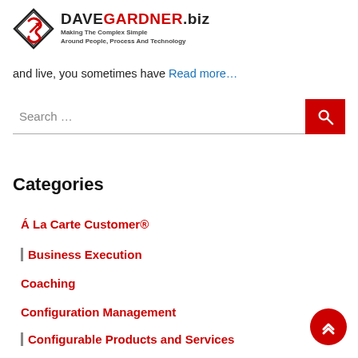[Figure (logo): DaveGardner.biz logo with icon and tagline 'Making The Complex Simple Around People, Process And Technology']
and live, you sometimes have Read more…
Search …
Categories
Á La Carte Customer®
Business Execution
Coaching
Configuration Management
Configurable Products and Services